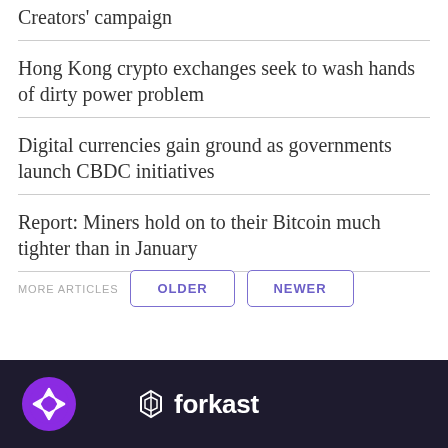Creators' campaign
Hong Kong crypto exchanges seek to wash hands of dirty power problem
Digital currencies gain ground as governments launch CBDC initiatives
Report: Miners hold on to their Bitcoin much tighter than in January
MORE ARTICLES   OLDER   NEWER
forkast